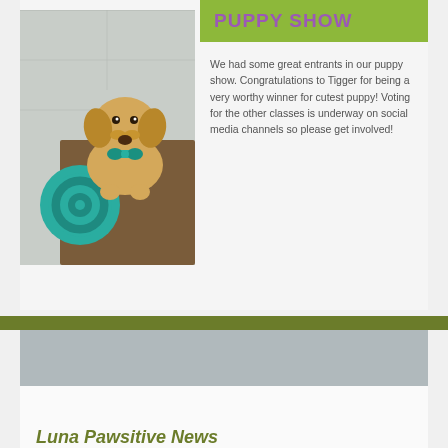[Figure (photo): A golden retriever puppy with a teal bow, standing on a tiled floor with a swirly teal mat nearby]
PUPPY SHOW
We had some great entrants in our puppy show. Congratulations to Tigger for being a very worthy winner for cutest puppy! Voting for the other classes is underway on social media channels so please get involved!
[Figure (photo): Grey placeholder image area]
Luna Pawsitive News